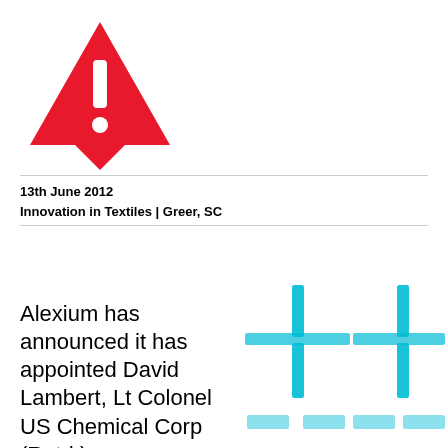[Figure (logo): Red warning triangle with exclamation mark and speech bubble tail, Alexium logo icon]
13th June 2012
Innovation in Textiles | Greer, SC
Alexium has announced it has appointed David Lambert, Lt Colonel US Chemical Corp (Retd.)
[Figure (illustration): Decorative cyan/teal cross-hair or plus-sign pattern graphic, two crosses made of horizontal and vertical bars in varying shades of cyan]